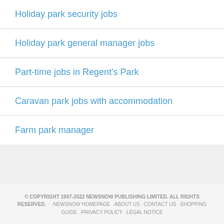Holiday park security jobs
Holiday park general manager jobs
Part-time jobs in Regent's Park
Caravan park jobs with accommodation
Farm park manager
© COPYRIGHT 1997-2022 NEWSNOW PUBLISHING LIMITED. ALL RIGHTS RESERVED. · ·NEWSNOW HOMEPAGE ·ABOUT US ·CONTACT US ·SHOPPING GUIDE ·PRIVACY POLICY ·LEGAL NOTICE